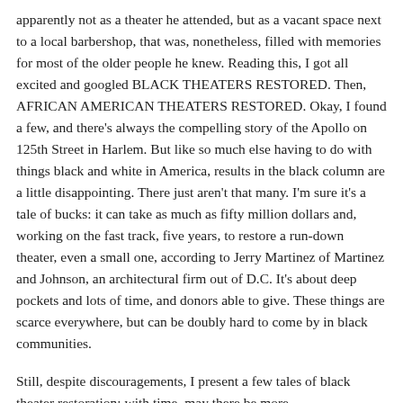apparently not as a theater he attended, but as a vacant space next to a local barbershop, that was, nonetheless, filled with memories for most of the older people he knew. Reading this, I got all excited and googled BLACK THEATERS RESTORED. Then, AFRICAN AMERICAN THEATERS RESTORED. Okay, I found a few, and there's always the compelling story of the Apollo on 125th Street in Harlem. But like so much else having to do with things black and white in America, results in the black column are a little disappointing. There just aren't that many. I'm sure it's a tale of bucks: it can take as much as fifty million dollars and, working on the fast track, five years, to restore a run-down theater, even a small one, according to Jerry Martinez of Martinez and Johnson, an architectural firm out of D.C. It's about deep pockets and lots of time, and donors able to give. These things are scarce everywhere, but can be doubly hard to come by in black communities.
Still, despite discouragements, I present a few tales of black theater restoration; with time, may there be more.
The previously-mentioned Lincoln Theatre in Bessemer, Alabama